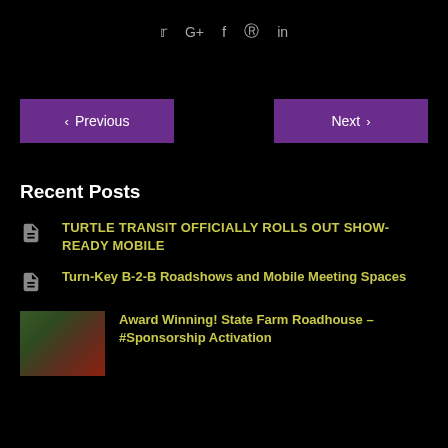Social icons: Twitter, Google+, Facebook, Pinterest, LinkedIn
< Previous    Next >
Recent Posts
TURTLE TRANSIT OFFICIALLY ROLLS OUT SHOW-READY MOBILE
Turn-Key B-2-B Roadshows and Mobile Meeting Spaces
Award Winning! State Farm Roadhouse – #Sponsorship Activation